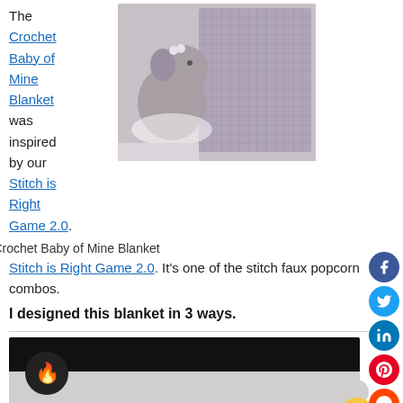The Crochet Baby of Mine Blanket was inspired by our Stitch is Right Game 2.0. It's one of the stitch faux popcorn combos.
[Figure (photo): Photo of a purple/lavender crochet blanket with a small stuffed elephant toy wearing a tutu, displayed on a white background.]
Crochet Baby of Mine Blanket
I designed this blanket in 3 ways.
[Figure (screenshot): Embedded video player showing a black top bar and gray content area, with a fire emoji button on the left side.]